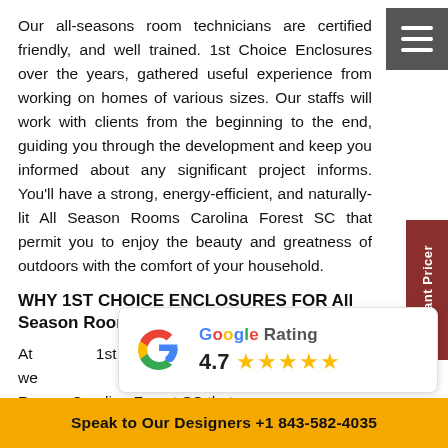Our all-seasons room technicians are certified friendly, and well trained. 1st Choice Enclosures over the years, gathered useful experience from working on homes of various sizes. Our staffs will work with clients from the beginning to the end, guiding you through the development and keep you informed about any significant project informs. You'll have a strong, energy-efficient, and naturally-lit All Season Rooms Carolina Forest SC that permit you to enjoy the beauty and greatness of outdoors with the comfort of your household.
WHY 1ST CHOICE ENCLOSURES FOR All Season Rooms?
At 1st Choice Enclosures, we clients with All Season Rooms Carolina Forest SC that
[Figure (other): Google Rating card showing 4.7 stars out of 5 with the Google G logo]
Speak to Our Designers +1 843-582-4035